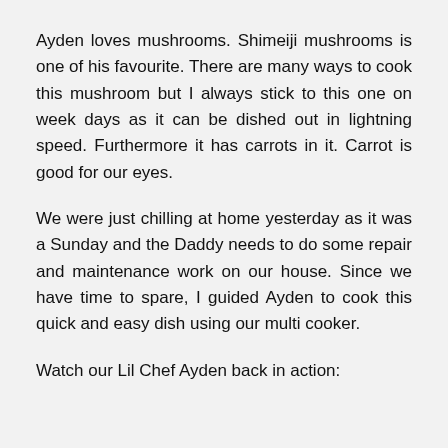Ayden loves mushrooms. Shimeiji mushrooms is one of his favourite. There are many ways to cook this mushroom but I always stick to this one on week days as it can be dished out in lightning speed. Furthermore it has carrots in it. Carrot is good for our eyes.
We were just chilling at home yesterday as it was a Sunday and the Daddy needs to do some repair and maintenance work on our house. Since we have time to spare, I guided Ayden to cook this quick and easy dish using our multi cooker.
Watch our Lil Chef Ayden back in action: